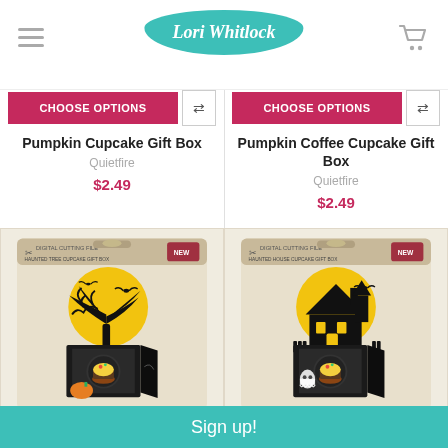Lori Whitlock
CHOOSE OPTIONS
CHOOSE OPTIONS
Pumpkin Cupcake Gift Box
Quietfire
$2.49
Pumpkin Coffee Cupcake Gift Box
Quietfire
$2.49
[Figure (photo): Haunted Tree Cupcake Gift Box product packaging showing a black cupcake box with a yellow moon and haunted tree silhouette decoration on top]
[Figure (photo): Haunted House Cupcake Gift Box product packaging showing a black cupcake box with a yellow moon and haunted house silhouette decoration on top]
Sign up!